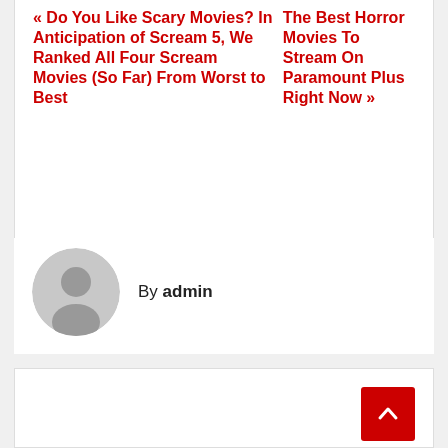« Do You Like Scary Movies? In Anticipation of Scream 5, We Ranked All Four Scream Movies (So Far) From Worst to Best
The Best Horror Movies To Stream On Paramount Plus Right Now »
By admin
RELATED POST